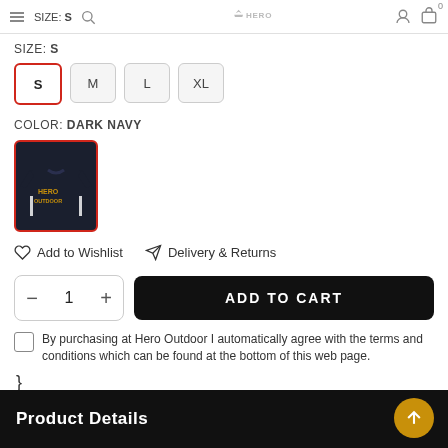SIZE: S — Hero Outdoor
SIZE: S
S   M   L   XL
COLOR: DARK NAVY
[Figure (photo): Dark navy long-sleeve sweater with gold text on chest, shown as a color swatch thumbnail with red border]
Add to Wishlist   Delivery & Returns
1   ADD TO CART
By purchasing at Hero Outdoor I automatically agree with the terms and conditions which can be found at the bottom of this web page.
Product Details